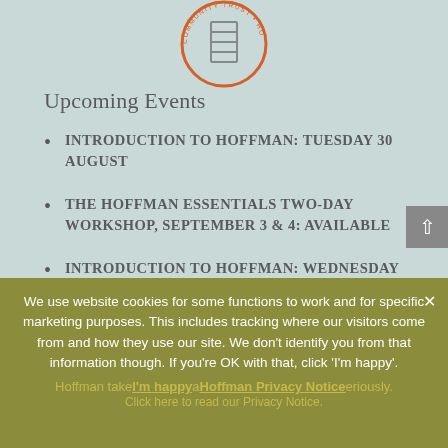[Figure (logo): Community Trust circular logo with ladder/house icon, orange and white]
Upcoming Events
INTRODUCTION TO HOFFMAN: TUESDAY 30 AUGUST
THE HOFFMAN ESSENTIALS TWO-DAY WORKSHOP, SEPTEMBER 3 & 4: AVAILABLE
INTRODUCTION TO HOFFMAN: WEDNESDAY 7 SEPTEMBER
INTRODUCTION TO HOFFMAN: TUESDAY 13 SEPTEMBER
We use website cookies for some functions to work and for specific marketing purposes. This includes tracking where our visitors come from and how they use our site. We don't identify you from that information though. If you're OK with that, click 'I'm happy'.
Hoffman take[I'm happy] a[Hoffman Privacy Notice]eriously. Click here to read our Privacy Notice.